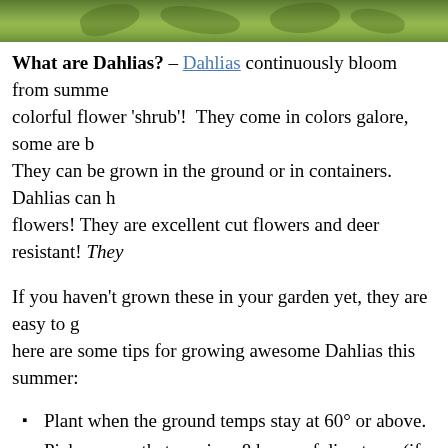[Figure (photo): Close-up photograph of green dahlia leaves/foliage, cropped at top of page]
What are Dahlias? – Dahlias continuously bloom from summer to frost and can be a colorful flower 'shrub'!  They come in colors galore, some are bi-colored and some are solid. They can be grown in the ground or in containers. Dahlias can have hundreds of flowers! They are excellent cut flowers and deer resistant! They
If you haven't grown these in your garden yet, they are easy to grow and here are some tips for growing awesome Dahlias this summer:
Plant when the ground temps stay at 60° or above.
Pick an area that receives 8 hours of direct sun (if in zones 8 afternoon shade).  Less sun = Less Flowers!
The best soil is a loose and drainable soil.  If you have heavy moss to allow for more drainage.
Dig a hole 2x as large as the tuber, add compost to lighten so out and facing downwards in the hole, cover with about 1" o
Do NOT cover with saw dust or mulch, because this does no properly.
Do NOT water until the dahlia comes up. After planting